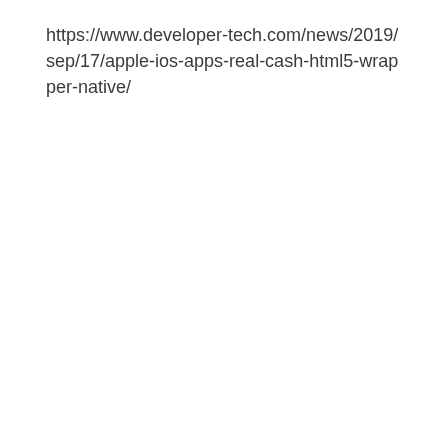https://www.developer-tech.com/news/2019/sep/17/apple-ios-apps-real-cash-html5-wrapper-native/